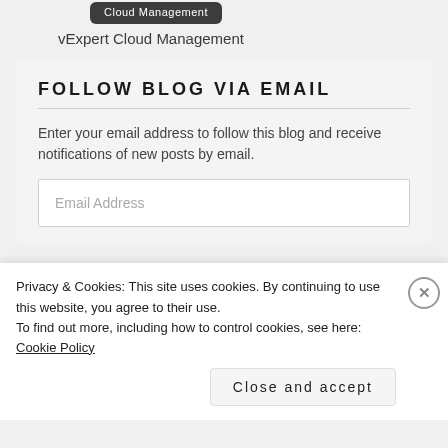[Figure (logo): vExpert Cloud Management badge with dark background and text 'Cloud Management']
vExpert Cloud Management
FOLLOW BLOG VIA EMAIL
Enter your email address to follow this blog and receive notifications of new posts by email.
Privacy & Cookies: This site uses cookies. By continuing to use this website, you agree to their use.
To find out more, including how to control cookies, see here: Cookie Policy